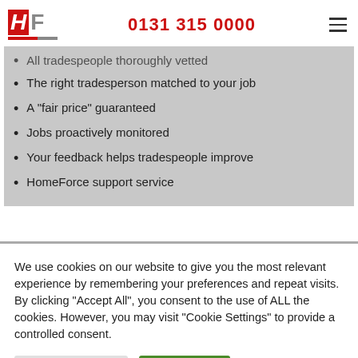HF | 0131 315 0000
All tradespeople thoroughly vetted
The right tradesperson matched to your job
A "fair price" guaranteed
Jobs proactively monitored
Your feedback helps tradespeople improve
HomeForce support service
We use cookies on our website to give you the most relevant experience by remembering your preferences and repeat visits. By clicking "Accept All", you consent to the use of ALL the cookies. However, you may visit "Cookie Settings" to provide a controlled consent.
Cookie Settings | Accept All